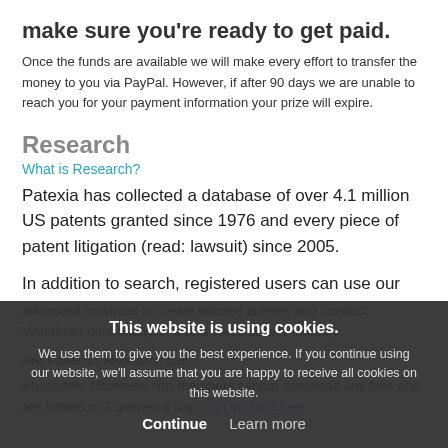make sure you're ready to get paid.
Once the funds are available we will make every effort to transfer the money to you via PayPal.  However, if after 90 days we are unable to reach you for your payment information your prize will expire.
Research
What is Research?
Patexia has collected a database of over 4.1 million US patents granted since 1976 and every piece of patent litigation (read: lawsuit) since 2005.
In addition to search, registered users can use our advanced functions to create tailored queries and conduct Visualized data analysis. Users can discover industry...
Are Patexia's Research tools...
Absolutely. However, non-members cannot download any files and are limited to 3 queries a day.
This website is using cookies.
We use them to give you the best experience. If you continue using our website, we'll assume that you are happy to receive all cookies on this website.
Continue   Learn more